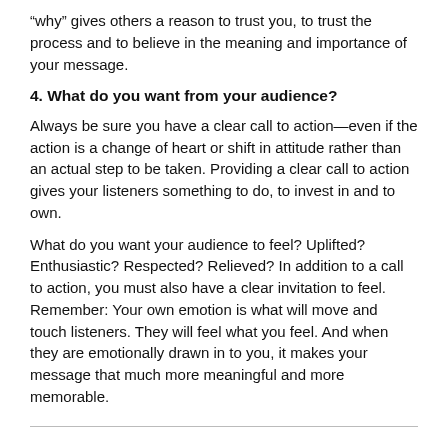“why” gives others a reason to trust you, to trust the process and to believe in the meaning and importance of your message.
4. What do you want from your audience?
Always be sure you have a clear call to action—even if the action is a change of heart or shift in attitude rather than an actual step to be taken. Providing a clear call to action gives your listeners something to do, to invest in and to own.
What do you want your audience to feel? Uplifted? Enthusiastic? Respected? Relieved? In addition to a call to action, you must also have a clear invitation to feel. Remember: Your own emotion is what will move and touch listeners. They will feel what you feel. And when they are emotionally drawn in to you, it makes your message that much more meaningful and more memorable.